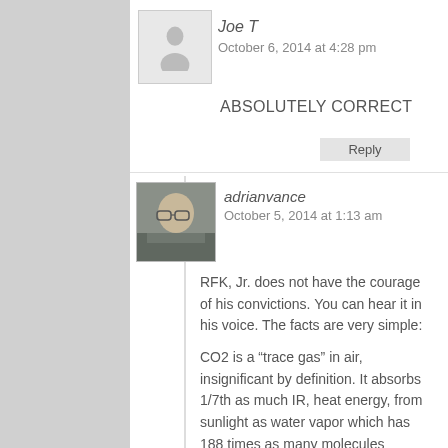Joe T
October 6, 2014 at 4:28 pm
ABSOLUTELY CORRECT
adrianvance
October 5, 2014 at 1:13 am
RFK, Jr. does not have the courage of his convictions. You can hear it in his voice. The facts are very simple:
CO2 is a “trace gas” in air, insignificant by definition. It absorbs 1/7th as much IR, heat energy, from sunlight as water vapor which has 188 times as many molecules capturing 1200 times as much heat making 99.9% of all “global warming.” CO2 does only 0.1% of it. For this we should destroy our economy?
The Medieval Warming from 800 AD to 1300 AD Micheal Mann erased to make his